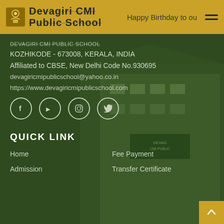Happy Birthday to ou
[Figure (logo): Devagiri CMI Public School logo with school name]
KOZHIKODE - 673008, KERALA, INDIA
Affiliated to CBSE, New Delhi Code No.930695
devagiricmipublicschool@yahoo.co.in
https://www.devagiricmipublicschool.com
[Figure (other): Social media icons: Facebook, YouTube, Instagram, Twitter in circles]
QUICK LINK
Home
Fee Payment
Admission
Transfer Certificate